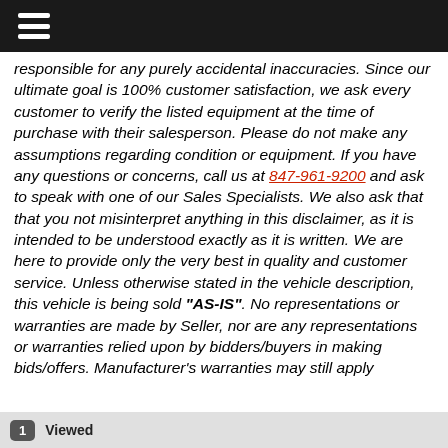responsible for any purely accidental inaccuracies. Since our ultimate goal is 100% customer satisfaction, we ask every customer to verify the listed equipment at the time of purchase with their salesperson. Please do not make any assumptions regarding condition or equipment. If you have any questions or concerns, call us at 847-961-9200 and ask to speak with one of our Sales Specialists. We also ask that that you not misinterpret anything in this disclaimer, as it is intended to be understood exactly as it is written. We are here to provide only the very best in quality and customer service. Unless otherwise stated in the vehicle description, this vehicle is being sold "AS-IS". No representations or warranties are made by Seller, nor are any representations or warranties relied upon by bidders/buyers in making bids/offers. Manufacturer's warranties may still apply
1  Viewed